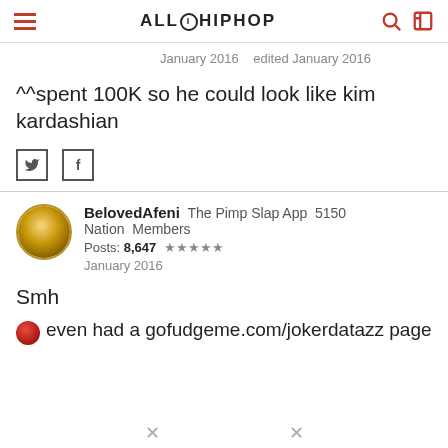ALLHIPHOP
January 2016   edited January 2016
^^spent 100K so he could look like kim kardashian
BelovedAfeni   The Pimp Slap App   5150 Nation   Members
Posts: 8,647  ★★★★★
January 2016
Smh
even had a gofudgeme.com/jokerdatazz page